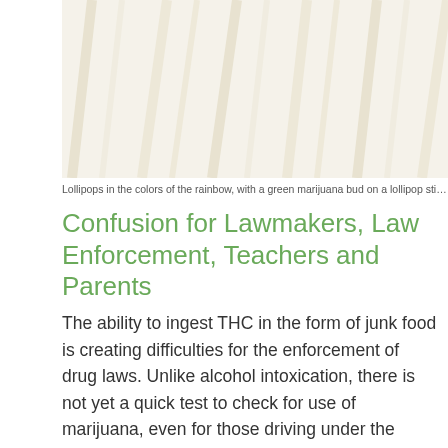[Figure (photo): Lollipops in the colors of the rainbow, with a green marijuana bud on a lollipop stick]
Lollipops in the colors of the rainbow, with a green marijuana bud on a lollipop sti…
Confusion for Lawmakers, Law Enforcement, Teachers and Parents
The ability to ingest THC in the form of junk food is creating difficulties for the enforcement of drug laws. Unlike alcohol intoxication, there is not yet a quick test to check for use of marijuana, even for those driving under the influence. Children can be eating THC-laced treats around parents, teachers and other